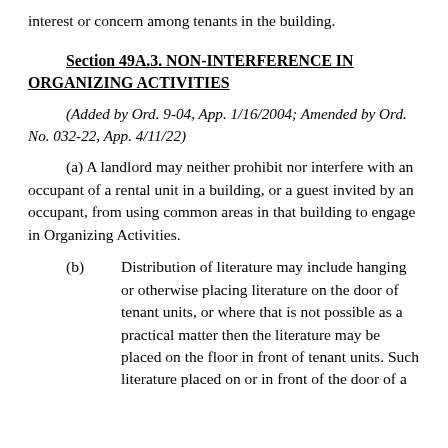interest or concern among tenants in the building.
Section 49A.3.  NON-INTERFERENCE IN ORGANIZING ACTIVITIES
(Added by Ord. 9-04, App. 1/16/2004; Amended by Ord. No. 032-22, App. 4/11/22)
(a) A landlord may neither prohibit nor interfere with an occupant of a rental unit in a building, or a guest invited by an occupant, from using common areas in that building to engage in Organizing Activities.
(b) Distribution of literature may include hanging or otherwise placing literature on the door of tenant units, or where that is not possible as a practical matter then the literature may be placed on the floor in front of tenant units. Such literature placed on or in front of the door of a